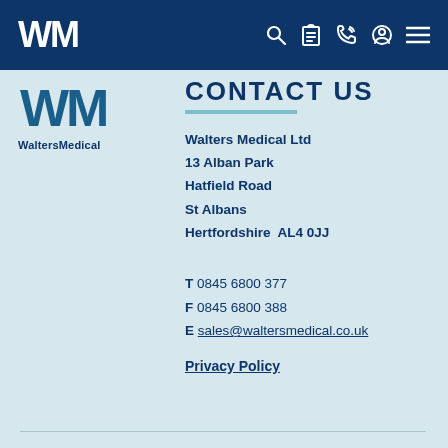WM (logo) — navigation icons
[Figure (logo): WM WaltersMedical logo in dark blue on light blue background]
CONTACT US
Walters Medical Ltd
13 Alban Park
Hatfield Road
St Albans
Hertfordshire  AL4 0JJ
T 0845 6800 377
F 0845 6800 388
E sales@waltersmedical.co.uk
Privacy Policy